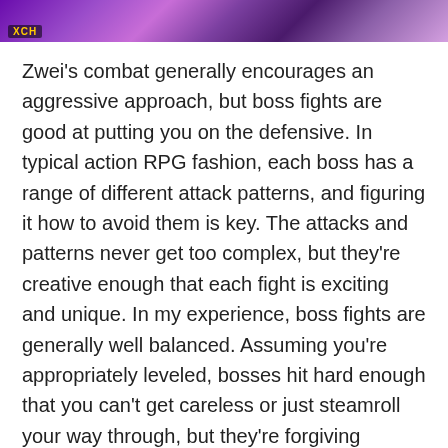[Figure (screenshot): Purple/violet fantasy game screenshot strip at the top of the page with a small HUD element showing 'XCH' or similar text in yellow.]
Zwei's combat generally encourages an aggressive approach, but boss fights are good at putting you on the defensive. In typical action RPG fashion, each boss has a range of different attack patterns, and figuring it how to avoid them is key. The attacks and patterns never get too complex, but they're creative enough that each fight is exciting and unique. In my experience, boss fights are generally well balanced. Assuming you're appropriately leveled, bosses hit hard enough that you can't get careless or just steamroll your way through, but they're forgiving enough that you can make a few mistakes without being doomed. Given Falcom's history of challenging bosses (especially in Ys), it's refreshing to play a game that's a bit more approachable.